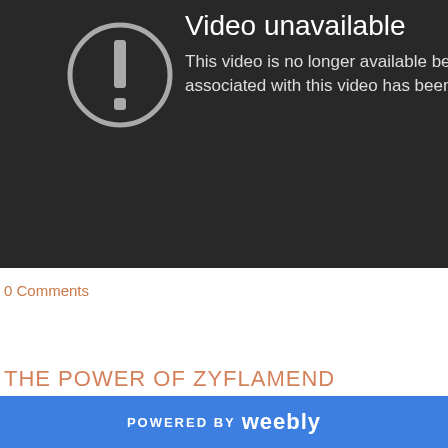[Figure (screenshot): YouTube 'Video unavailable' error screen on dark background with exclamation mark icon in a circle. Text reads: 'Video unavailable' and 'This video is no longer available be... associated with this video has been']
0 Comments
THE POWER OF ZYFLAMEND
POWERED BY weebly